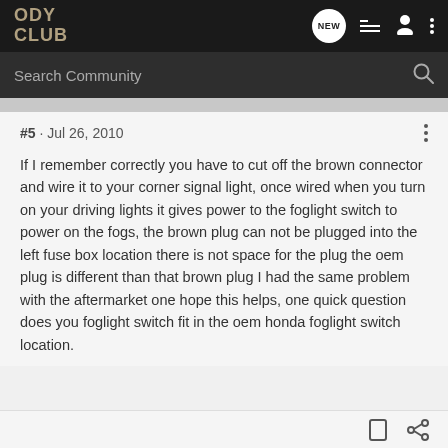ODY CLUB
#5 · Jul 26, 2010
If I remember correctly you have to cut off the brown connector and wire it to your corner signal light, once wired when you turn on your driving lights it gives power to the foglight switch to power on the fogs, the brown plug can not be plugged into the left fuse box location there is not space for the plug the oem plug is different than that brown plug I had the same problem with the aftermarket one hope this helps, one quick question does you foglight switch fit in the oem honda foglight switch location.